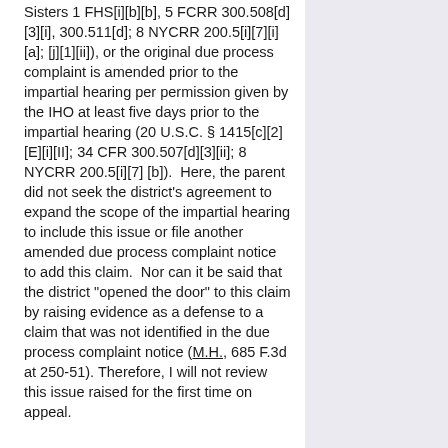Sisters 1 FHS[i][b][b], 5 FCR 300.508[d][3][i], 300.511[d]; 8 NYCRR 200.5[i][7][i][a]; [j][1][ii]), or the original due process complaint is amended prior to the impartial hearing per permission given by the IHO at least five days prior to the impartial hearing (20 U.S.C. § 1415[c][2][E][i][II]; 34 CFR 300.507[d][3][ii]; 8 NYCRR 200.5[i][7][b]).  Here, the parent did not seek the district's agreement to expand the scope of the impartial hearing to include this issue or file another amended due process complaint notice to add this claim.  Nor can it be said that the district "opened the door" to this claim by raising evidence as a defense to a claim that was not identified in the due process complaint notice (M.H., 685 F.3d at 250-51). Therefore, I will not review this issue raised for the first time on appeal.